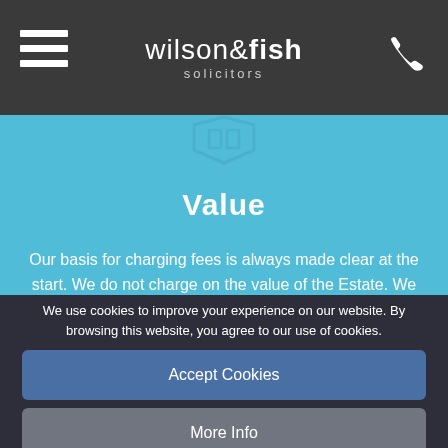wilson&fish solicitors
[Figure (logo): Wilson & Fish Solicitors logo with hamburger menu icon on left and phone icon on right, dark grey header bar]
Value
Our basis for charging fees is always made clear at the start. We do not charge on the value of the Estate. We can offer fixed fees in many cases.
"At the outset they clearly set out their fee structure which was very fair and proportionate".
We use cookies to improve your experience on our website. By browsing this website, you agree to our use of cookies.
Accept Cookies
More Info